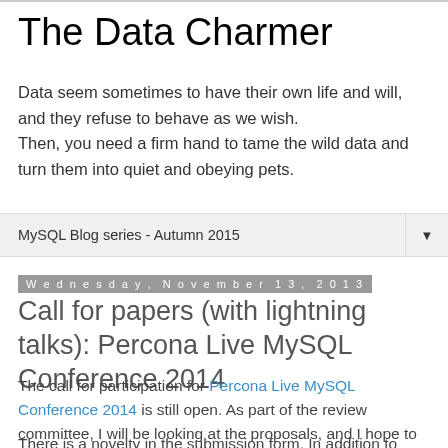The Data Charmer
Data seem sometimes to have their own life and will, and they refuse to behave as we wish.
Then, you need a firm hand to tame the wild data and turn them into quiet and obeying pets.
MySQL Blog series - Autumn 2015
Wednesday, November 13, 2013
Call for papers (with lightning talks): Percona Live MySQL Conference 2014
The call for participation for Percona Live MySQL Conference 2014 is still open. As part of the review committee, I will be looking at the proposals, and I hope to see many interesting ones.
There is a novelty in the submission form. In addition to